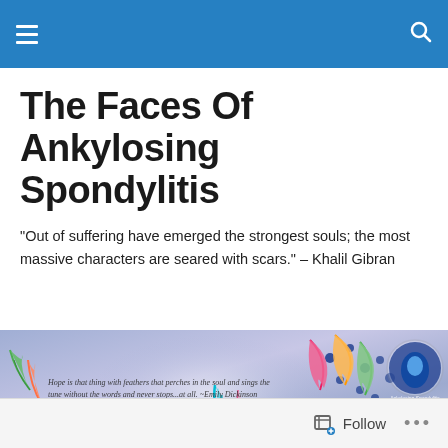The Faces Of Ankylosing Spondylitis
The Faces Of Ankylosing Spondylitis
"Out of suffering have emerged the strongest souls; the most massive characters are seared with scars." – Khalil Gibran
[Figure (illustration): Purple/blue gradient banner with colorful feathers and text: 'Hope is that thing with feathers that perches in the soul and sings the tune without the words and never stops at all. ~Emily Dickinson' and 'E-mail your story to: Cookiebasas@aol.com' with a circular logo on the right.]
A.S. Face 0111: Alan Beaulieu
Follow